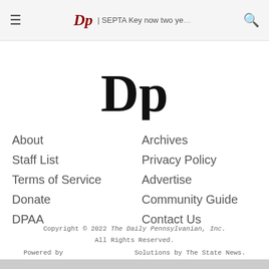≡  DP | SEPTA Key now two ye…  🔍
[Figure (logo): Daily Pennsylvanian blackletter DP logo, large centered]
About
Staff List
Terms of Service
Donate
DPAA
Archives
Privacy Policy
Advertise
Community Guide
Contact Us
Copyright © 2022 The Daily Pennsylvanian, Inc. All Rights Reserved.
Powered by  Solutions by The State News.